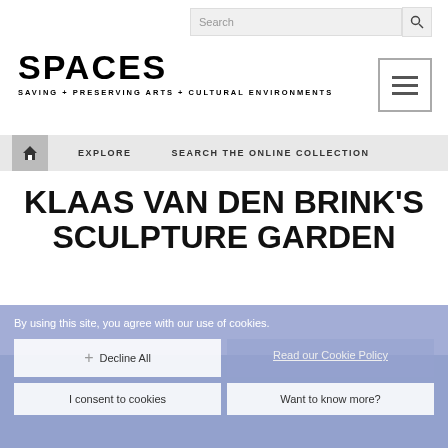Search
[Figure (logo): SPACES logo — bold black uppercase text reading SPACES with subtitle SAVING + PRESERVING ARTS + CULTURAL ENVIRONMENTS]
[Figure (other): Hamburger menu icon — three horizontal lines in a bordered square]
Home | EXPLORE | SEARCH THE ONLINE COLLECTION
KLAAS VAN DEN BRINK'S SCULPTURE GARDEN
By using this site, you agree with our use of cookies.
Decline All
Read our Cookie Policy
I consent to cookies
Want to know more?